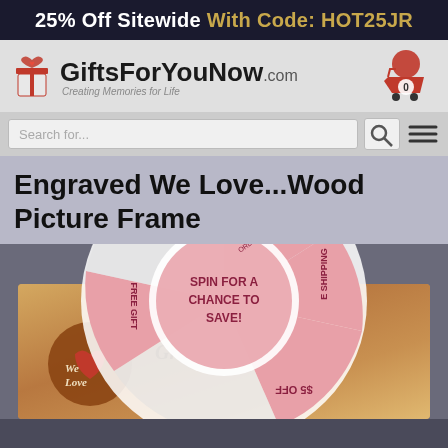25% Off Sitewide With Code: HOT25JR
[Figure (logo): GiftsForYouNow.com logo with gift box icon and tagline 'Creating Memories for Life', cart icon on right]
Search for...
Engraved We Love...Wood Picture Frame
[Figure (photo): Wood picture frame engraved with 'We Love' heart logo and 'Grandma & Grandpa' cursive text]
[Figure (infographic): Spin wheel overlay popup with sections: $10 OFF on orders over $50, FREE GIFT, SPIN FOR A CHANCE TO SAVE!, FREE SHIPPING, $5 OFF]